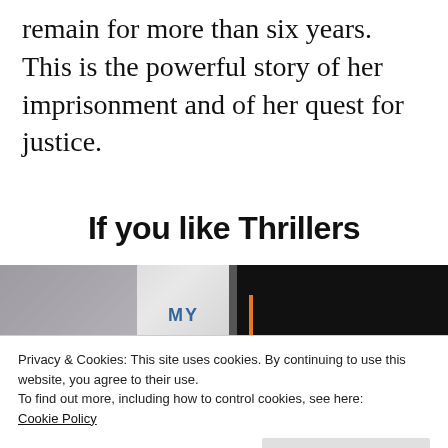remain for more than six years. This is the powerful story of her imprisonment and of her quest for justice.
If you like Thrillers
[Figure (photo): Two book covers side by side. Left: a dark-haired woman on a light background with the text 'MY'. Right: a woman on a dark background with the text 'I was born into a'.]
Privacy & Cookies: This site uses cookies. By continuing to use this website, you agree to their use.
To find out more, including how to control cookies, see here: Cookie Policy
[Figure (photo): Bottom portions of two book covers. Left shows 'Miles to' in teal/blue text. Right shows 'ESCAPE' in orange/white text on dark background.]